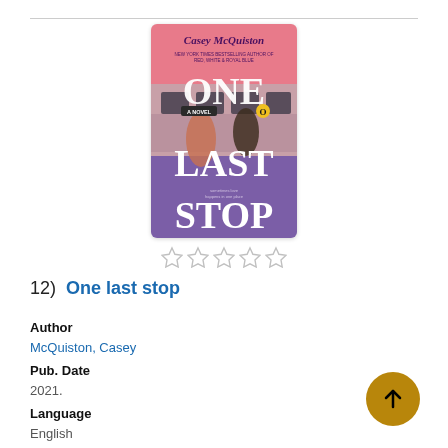[Figure (illustration): Book cover for 'One Last Stop' by Casey McQuiston. Pink and purple background with subway train imagery. Author name at top, 'ONE LAST STOP' as large white text, two illustrated characters in the middle.]
[Figure (other): Five empty star rating icons in a row]
12)  One last stop
Author
McQuiston, Casey
Pub. Date
2021.
Language
English
Formats
Book, eBook, Kindle